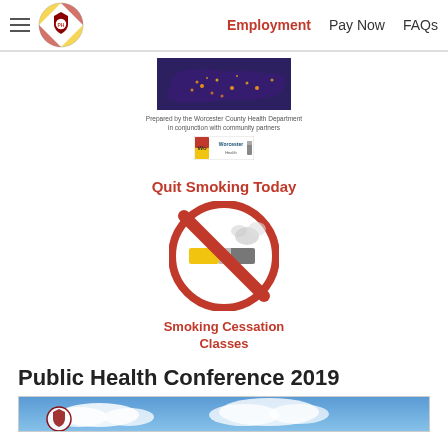Employment | Pay Now | FAQs
[Figure (illustration): Map image of the United States with lights/dots overlay]
Prepared by the Worcester County Health Department in conjunction with community partners
[Figure (logo): Worcester Health logo badge/banner]
Quit Smoking Today
[Figure (illustration): No smoking symbol - circle with red diagonal slash over a cigarette with smoke]
Smoking Cessation Classes
Public Health Conference 2019
[Figure (photo): Blue sky with clouds photo for Public Health Conference 2019]